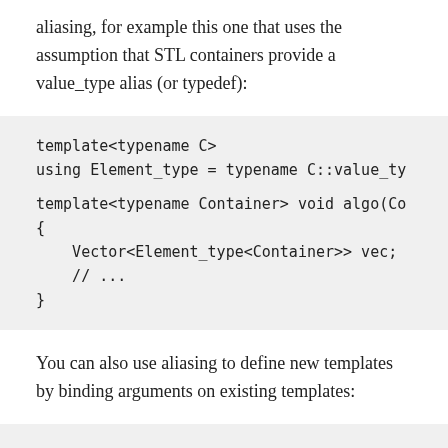aliasing, for example this one that uses the assumption that STL containers provide a value_type alias (or typedef):
template<typename C>
using Element_type = typename C::value_ty

template<typename Container> void algo(Co
{
    Vector<Element_type<Container>> vec;
    // ...
}
You can also use aliasing to define new templates by binding arguments on existing templates: